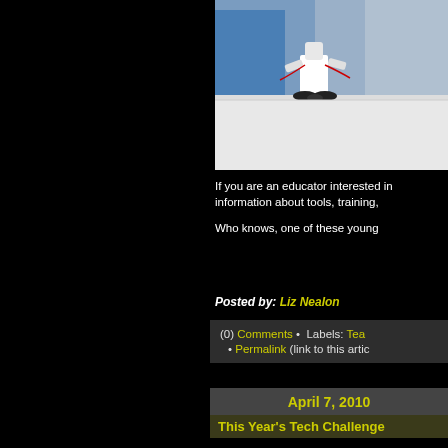[Figure (photo): Photo of a small robot on a white table, with people in background]
If you are an educator interested in information about tools, training,
Who knows, one of these young
Posted by: Liz Nealon
(0) Comments • Labels: Tea
Permalink (link to this artic
April 7, 2010
This Year's Tech Challenge